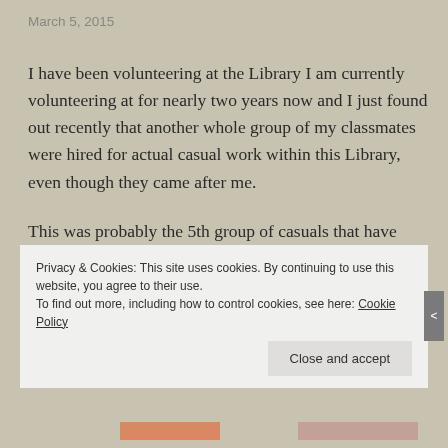March 5, 2015
I have been volunteering at the Library I am currently volunteering at for nearly two years now and I just found out recently that another whole group of my classmates were hired for actual casual work within this Library, even though they came after me.
This was probably the 5th group of casuals that have been hired since I started volunteering there. As you can imagine this was the last straw for me.
So this time instead of “letting it go” I decided to ask them if there was a possibility that they would tell...
Privacy & Cookies: This site uses cookies. By continuing to use this website, you agree to their use.
To find out more, including how to control cookies, see here: Cookie Policy
Close and accept